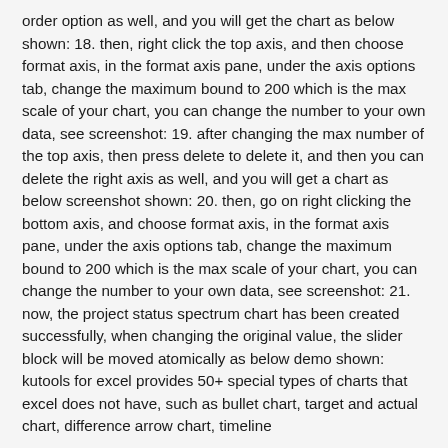order option as well, and you will get the chart as below shown: 18. then, right click the top axis, and then choose format axis, in the format axis pane, under the axis options tab, change the maximum bound to 200 which is the max scale of your chart, you can change the number to your own data, see screenshot: 19. after changing the max number of the top axis, then press delete to delete it, and then you can delete the right axis as well, and you will get a chart as below screenshot shown: 20. then, go on right clicking the bottom axis, and choose format axis, in the format axis pane, under the axis options tab, change the maximum bound to 200 which is the max scale of your chart, you can change the number to your own data, see screenshot: 21. now, the project status spectrum chart has been created successfully, when changing the original value, the slider block will be moved atomically as below demo shown: kutools for excel provides 50+ special types of charts that excel does not have, such as bullet chart, target and actual chart, difference arrow chart, timeline